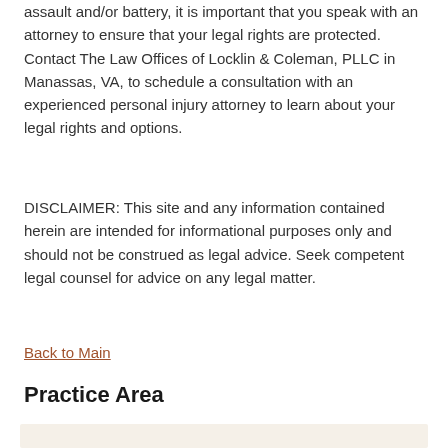assault and/or battery, it is important that you speak with an attorney to ensure that your legal rights are protected. Contact The Law Offices of Locklin & Coleman, PLLC in Manassas, VA, to schedule a consultation with an experienced personal injury attorney to learn about your legal rights and options.
DISCLAIMER: This site and any information contained herein are intended for informational purposes only and should not be construed as legal advice. Seek competent legal counsel for advice on any legal matter.
Back to Main
Practice Area